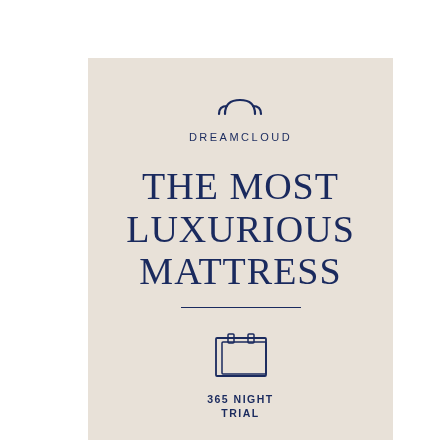[Figure (logo): DreamCloud logo: cloud/arc icon above text DREAMCLOUD in spaced caps]
THE MOST LUXURIOUS MATTRESS
[Figure (illustration): Calendar/notebook icon representing 365 night trial]
365 NIGHT TRIAL
[Figure (illustration): Infinity symbol icon representing forever warranty]
FOREVER WARRANTY